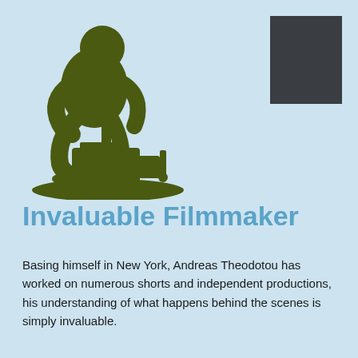[Figure (illustration): Dark olive green silhouette of a filmmaker/camera operator crouching behind a large professional film camera on a tripod/dolly, set against a light blue background]
[Figure (other): Dark gray/charcoal square decorative block in the upper right corner]
Invaluable Filmmaker
Basing himself in New York, Andreas Theodotou has worked on numerous shorts and independent productions, his understanding of what happens behind the scenes is simply invaluable.